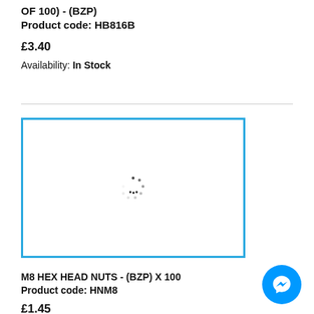OF 100) - (BZP)
Product code: HB816B
£3.40
Availability: In Stock
[Figure (other): Loading spinner / placeholder image area with blue border, product image loading]
M8 HEX HEAD NUTS - (BZP) X 100
Product code: HNM8
£1.45